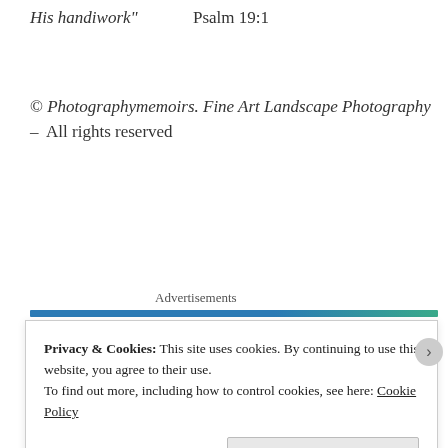His handiwork"       Psalm 19:1
© Photographymemoirs. Fine Art Landscape Photography – All rights reserved
Advertisements
Privacy & Cookies: This site uses cookies. By continuing to use this website, you agree to their use.
To find out more, including how to control cookies, see here: Cookie Policy
Close and accept